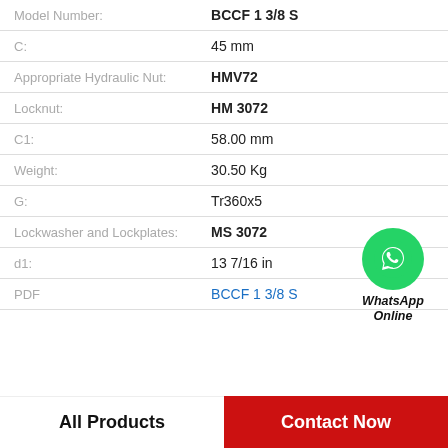| Property | Value |
| --- | --- |
| Model Number: | BCCF 1 3/8 S |
| C: | 45 mm |
| Appropriate Hydraulic Nut: | HMV72 |
| Locknut: | HM 3072 |
| C1: | 58.00 mm |
| Weight: | 30.50 Kg |
| G: | Tr360x5 |
| Lockwasher and Lockplates: | MS 3072 |
| d1: | 13 7/16 in |
| PDF | BCCF 1 3/8 S |
[Figure (logo): WhatsApp Online green circle icon with phone handset and text WhatsApp Online]
All Products
Contact Now